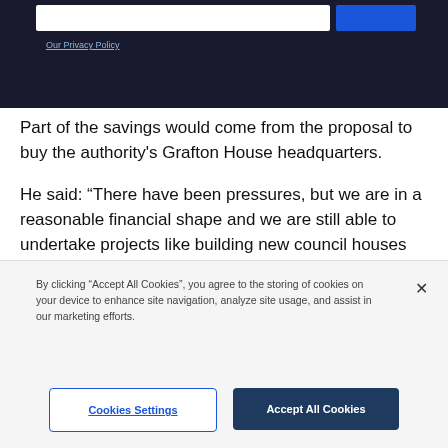[Figure (screenshot): Dark navigation/search bar with white input field and blue button]
Our Privacy Policy
Part of the savings would come from the proposal to buy the authority's Grafton House headquarters.
He said: “There have been pressures, but we are in a reasonable financial shape and we are still able to undertake projects like building new council houses and rebuilding the Crown Car Park.
By clicking “Accept All Cookies”, you agree to the storing of cookies on your device to enhance site navigation, analyze site usage, and assist in our marketing efforts.
Cookies Settings
Accept All Cookies